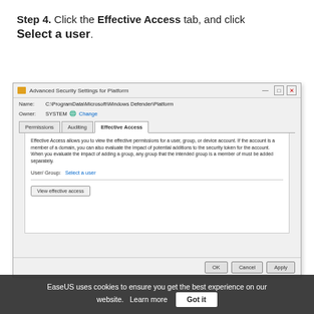Step 4. Click the Effective Access tab, and click Select a user.
[Figure (screenshot): Windows Advanced Security Settings for Platform dialog showing the Effective Access tab selected. The dialog shows Name: C:\ProgramData\Microsoft\Windows Defender\Platform, Owner: SYSTEM with a Change link. Tabs: Permissions, Auditing, Effective Access (active). Content area shows description text about Effective Access and a 'Select a user' link. Dialog has OK, Cancel, Apply buttons.]
EaseUS uses cookies to ensure you get the best experience on our website. Learn more Got it
Step 5. Go to Administrators.